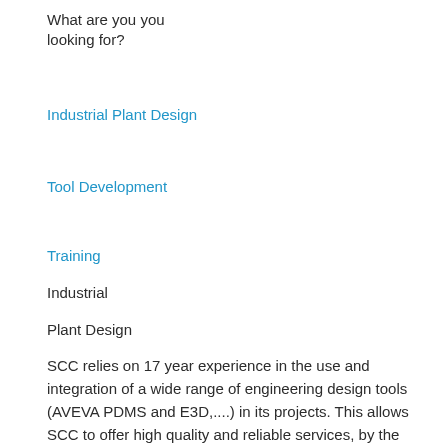What are you looking for?
Industrial Plant Design
Tool Development
Training
Industrial
Plant Design
SCC relies on 17 year experience in the use and integration of a wide range of engineering design tools (AVEVA PDMS and E3D,....) in its projects. This allows SCC to offer high quality and reliable services, by the application of our advanced knowledge on the